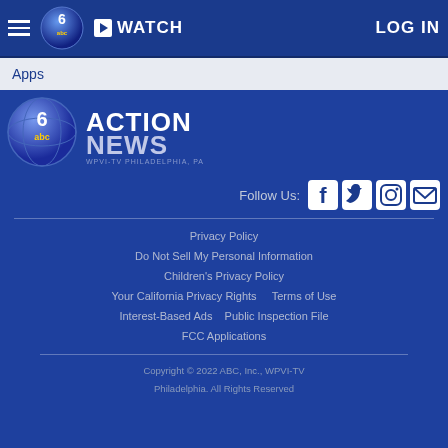6abc Action News — WATCH | LOG IN
Apps
[Figure (logo): 6 ABC Action News logo — WPVI-TV Philadelphia, PA]
Follow Us:
Privacy Policy
Do Not Sell My Personal Information
Children's Privacy Policy
Your California Privacy Rights    Terms of Use
Interest-Based Ads    Public Inspection File
FCC Applications
Copyright © 2022 ABC, Inc., WPVI-TV Philadelphia. All Rights Reserved